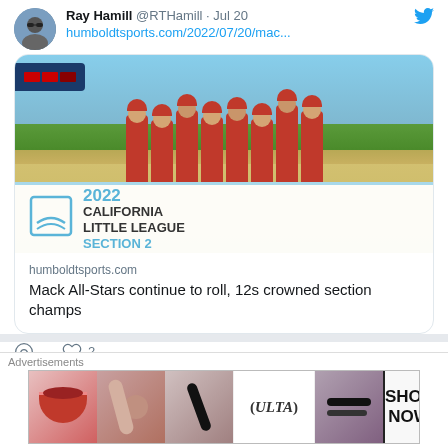Ray Hamill @RTHamill · Jul 20
humboldtsports.com/2022/07/20/mac...
[Figure (photo): Youth baseball team in red uniforms holding a 2022 California Little League Section 2 championship banner]
humboldtsports.com
Mack All-Stars continue to roll, 12s crowned section champs
2  (likes)
Ray Hamill @RTHamill · Jul 6
Advertisements
[Figure (photo): Ulta Beauty advertisement banner showing makeup and cosmetics imagery with SHOP NOW text]